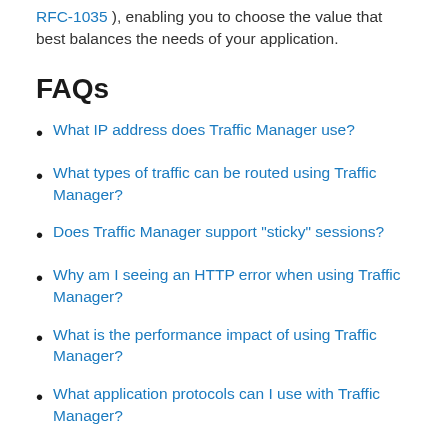RFC-1035 ), enabling you to choose the value that best balances the needs of your application.
FAQs
What IP address does Traffic Manager use?
What types of traffic can be routed using Traffic Manager?
Does Traffic Manager support "sticky" sessions?
Why am I seeing an HTTP error when using Traffic Manager?
What is the performance impact of using Traffic Manager?
What application protocols can I use with Traffic Manager?